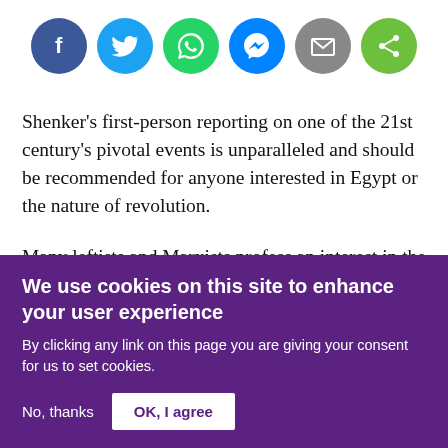[Figure (infographic): Row of six social sharing icon buttons: Facebook (dark blue circle), Twitter (light blue circle), WhatsApp (green circle), Messenger (blue circle), Email (grey circle), Share (green circle)]
Shenker’s first-person reporting on one of the 21st century’s pivotal events is unparalleled and should be recommended for anyone interested in Egypt or the nature of revolution.
Many leftists and Marxists profess an interest in the Middle East but few are willing to put in the legwork to actually apply a serious Marxist analysis to the states that
We use cookies on this site to enhance your user experience
By clicking any link on this page you are giving your consent for us to set cookies.
No, thanks
OK, I agree